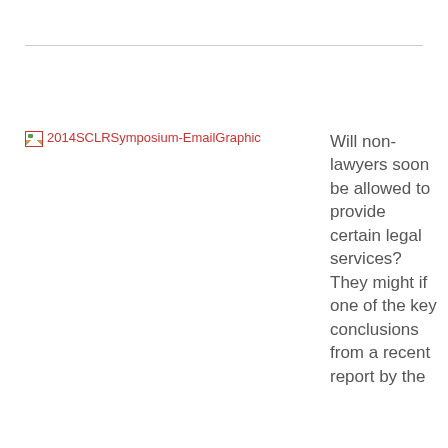[Figure (other): Broken image placeholder labeled '2014SCLRSymposium-EmailGraphic']
Will non-lawyers soon be allowed to provide certain legal services? They might if one of the key conclusions from a recent report by the